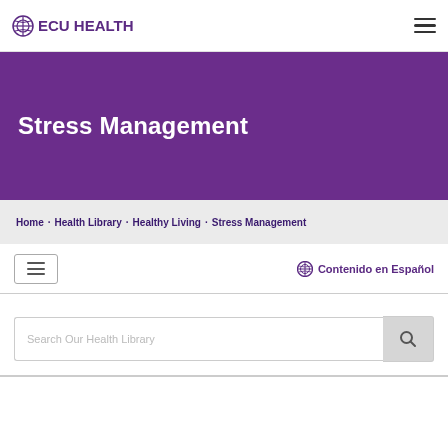ECU HEALTH
Stress Management
Home · Health Library · Healthy Living · Stress Management
Contenido en Español
Search Our Health Library